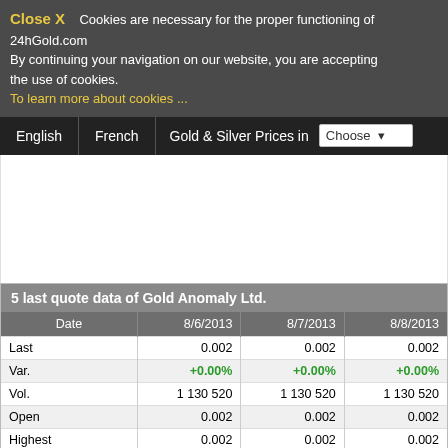Close X  Cookies are necessary for the proper functioning of 24hGold.com. By continuing your navigation on our website, you are accepting the use of cookies.
To learn more about cookies ...
English | French | Gold & Silver Prices in [Choose dropdown]
| Date | 8/6/2013 | 8/7/2013 | 8/8/2013 |
| --- | --- | --- | --- |
| Last | 0.002 | 0.002 | 0.002 |
| Var. | +0.00% | +0.00% | +0.00% |
| Vol. | 1 130 520 | 1 130 520 | 1 130 520 |
| Open | 0.002 | 0.002 | 0.002 |
| Highest | 0.002 | 0.002 | 0.002 |
| Lowest | 0.001 | 0.001 | 0.001 |
Gold Anomaly Ltd. profile | Gold Anomaly Ltd. news | Gold Anomaly Ltd. market Indicators | Gold Anomaly Ltd. | Gold Anomaly Ltd. annual report | Gold Anomaly Ltd. management | Gold Anomaly Ltd. in
Gold Editorials | Gold Resource News | Gold Fundamental | Gold Discoveries | Policy